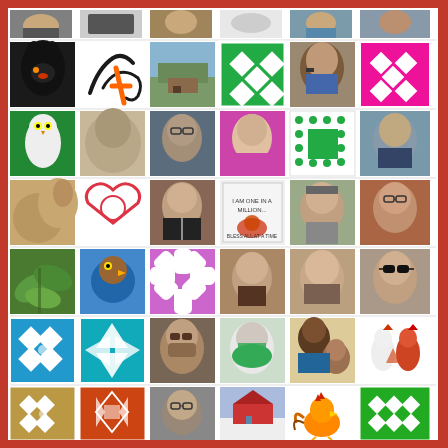[Figure (photo): Grid of profile pictures and decorative quilt pattern images arranged in rows. Row 1 (partial, top): 6 photos of people. Row 2: black cat, handwritten logo, outdoor scene, green quilt pattern, woman portrait, pink quilt pattern. Row 3: white owl on green, horse/animal close-up, woman with glasses, woman in pink, green quilt pattern, person outdoors. Row 4: horse, heart with animals illustration, woman in business attire, decorative sign, woman with headband, woman with glasses. Row 5: plant/leaves, bird in hole, purple snowflake pattern, woman portrait, older woman, woman with sunglasses. Row 6: blue quilt pattern, teal quilt pattern, person with mask, person in green headscarf, man with child, roosters. Row 7: gold quilt pattern, orange-red quilt pattern, man portrait, winter barn scene, orange rooster, green quilt pattern. Row 8 (partial, bottom): two portrait photos.]